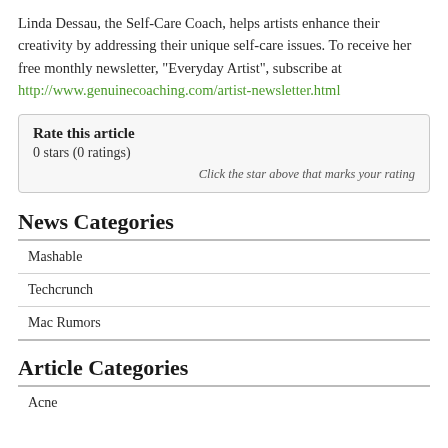Linda Dessau, the Self-Care Coach, helps artists enhance their creativity by addressing their unique self-care issues. To receive her free monthly newsletter, "Everyday Artist", subscribe at http://www.genuinecoaching.com/artist-newsletter.html
| Rate this article |
| 0 stars (0 ratings) |
| Click the star above that marks your rating |
News Categories
Mashable
Techcrunch
Mac Rumors
Article Categories
Acne